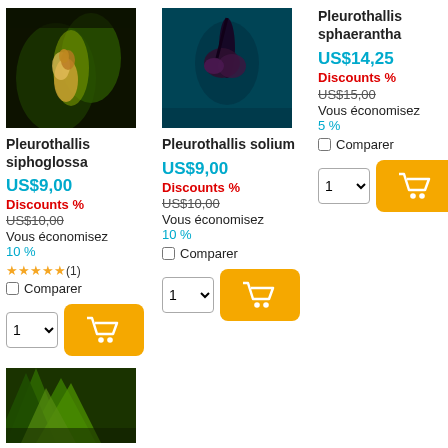[Figure (photo): Photo of Pleurothallis siphoglossa flower, green and orange on dark background]
Pleurothallis siphoglossa
US$9,00
Discounts %
US$10,00
Vous économisez
10 %
★★★★★(1)
Comparer
[Figure (photo): Photo of Pleurothallis solium flower, dark reddish on teal background]
Pleurothallis solium
US$9,00
Discounts %
US$10,00
Vous économisez
10 %
Comparer
Pleurothallis sphaerantha
US$14,25
Discounts %
US$15,00
Vous économisez
5 %
Comparer
[Figure (photo): Partial photo of green plant leaves at bottom left]